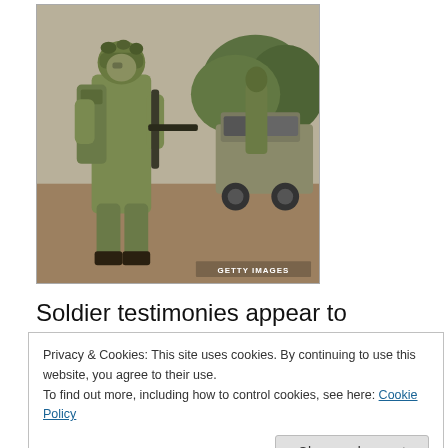[Figure (photo): Israeli soldiers in combat gear with rifles and military vehicles in the background, labeled GETTY IMAGES]
Soldier testimonies appear to contradict official Israeli statements
A group of soldiers who took part in Israel's assault in
Privacy & Cookies: This site uses cookies. By continuing to use this website, you agree to their use.
To find out more, including how to control cookies, see here: Cookie Policy
Close and accept
Palestinians were sometimes used as human shields.